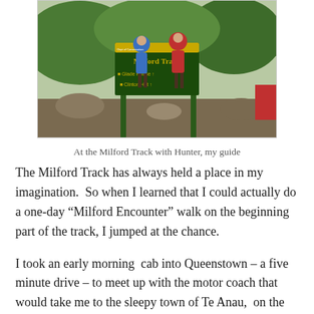[Figure (photo): Two hikers standing in front of the Milford Track sign showing Glade House and Clinton Hut directions, in a forested rocky area. Department of Conservation and Fiordland National Park logos visible on the green and yellow sign.]
At the Milford Track with Hunter, my guide
The Milford Track has always held a place in my imagination.  So when I learned that I could actually do a one-day “Milford Encounter” walk on the beginning part of the track, I jumped at the chance.
I took an early morning  cab into Queenstown – a five minute drive – to meet up with the motor coach that would take me to the sleepy town of Te Anau,  on the Lake of the same name, where my guide, Hunter, would meet me.